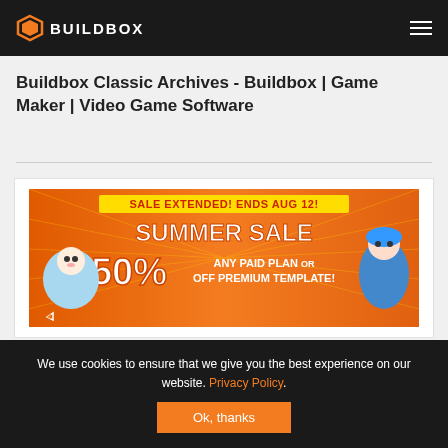BUILDBOX
Buildbox Classic Archives - Buildbox | Game Maker | Video Game Software
[Figure (illustration): Summer sale promotional banner: orange background with cartoon characters, text reading 'SALE EXTENDED! ENDS AUG 12! SUMMER SALE 50% OFF ANY PAID PLAN OR PREMIUM TEMPLATE!']
We use cookies to ensure that we give you the best experience on our website. Privacy Policy. Ok, thanks